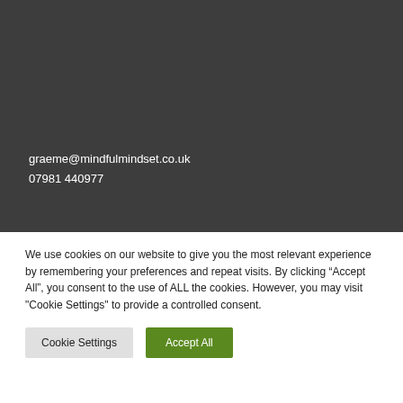graeme@mindfulmindset.co.uk
07981 440977
We use cookies on our website to give you the most relevant experience by remembering your preferences and repeat visits. By clicking “Accept All”, you consent to the use of ALL the cookies. However, you may visit "Cookie Settings" to provide a controlled consent.